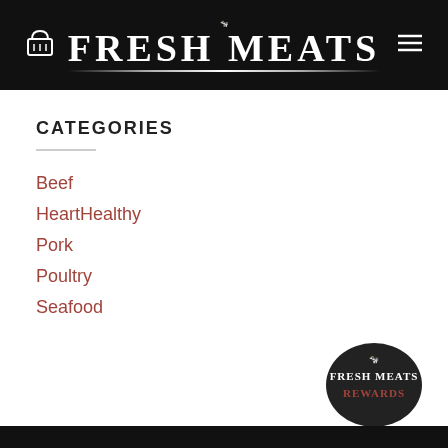FRESH MEATS
CATEGORIES
Beef
HeartHealthy
Pork
Poultry
Seafood
[Figure (logo): Fresh Meats Rewards oval badge logo with cow icon]